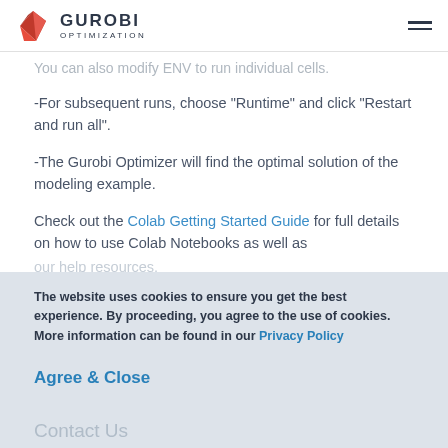Gurobi Optimization
You can also modify ENV to run individual cells.
-For subsequent runs, choose "Runtime" and click "Restart and run all".
-The Gurobi Optimizer will find the optimal solution of the modeling example.
Check out the Colab Getting Started Guide for full details on how to use Colab Notebooks as well as
The website uses cookies to ensure you get the best experience. By proceeding, you agree to the use of cookies. More information can be found in our Privacy Policy
Agree & Close
Contact Us